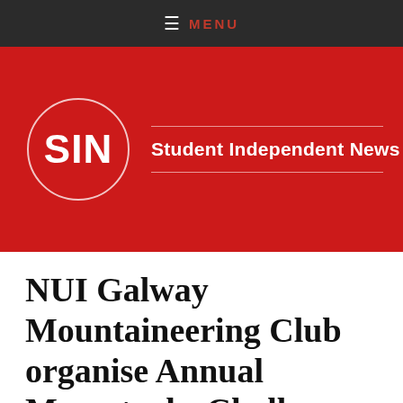≡ MENU
[Figure (logo): Student Independent News (SIN) logo: white circle with 'SIN' text on red background, alongside the text 'Student Independent News']
NUI Galway Mountaineering Club organise Annual Maamturks Challenge